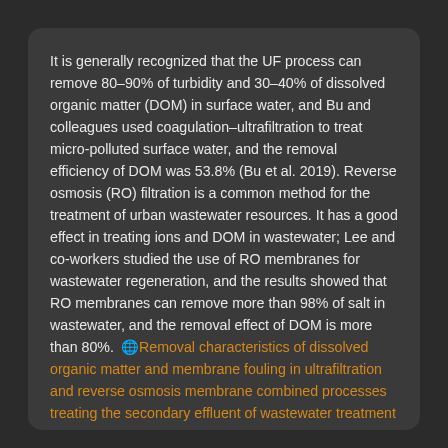It is generally recognized that the UF process can remove 80–90% of turbidity and 30–40% of dissolved organic matter (DOM) in surface water, and Bu and colleagues used coagulation–ultrafiltration to treat micro-polluted surface water, and the removal efficiency of DOM was 53.8% (Bu et al. 2019). Reverse osmosis (RO) filtration is a common method for the treatment of urban wastewater resources. It has a good effect in treating ions and DOM in wastewater; Lee and co-workers studied the use of RO membranes for wastewater regeneration, and the results showed that RO membranes can remove more than 98% of salt in wastewater, and the removal effect of DOM is more than 80%. 🌐 Removal characteristics of dissolved organic matter and membrane fouling in ultrafiltration and reverse osmosis membrane combined processes treating the secondary effluent of wastewater treatment